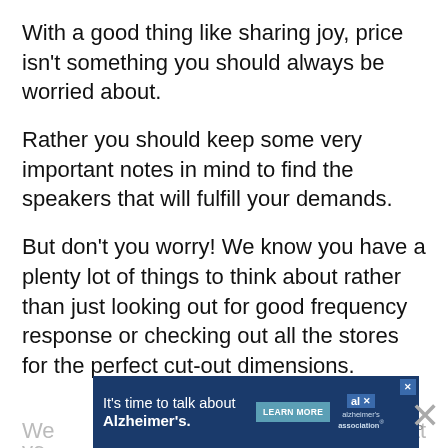With a good thing like sharing joy, price isn't something you should always be worried about.
Rather you should keep some very important notes in mind to find the speakers that will fulfill your demands.
But don't you worry! We know you have a plenty lot of things to think about rather than just looking out for good frequency response or checking out all the stores for the perfect cut-out dimensions.
[Figure (other): Advertisement banner: 'It's time to talk about Alzheimer's.' with a LEARN MORE button and Alzheimer's Association logo, with close (X) buttons]
We... o that you... d